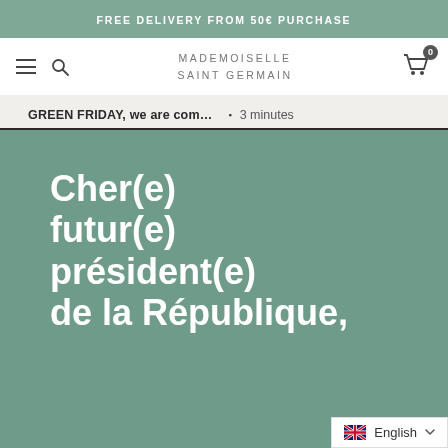FREE DELIVERY FROM 50€ PURCHASE
[Figure (screenshot): Navigation bar with hamburger menu, search icon, Mademoiselle Saint Germain logo, and shopping cart icon with badge showing 0]
GREEN FRIDAY, we are com… ▪ 3 minutes
Cher(e) futur(e) président(e) de la République,
English